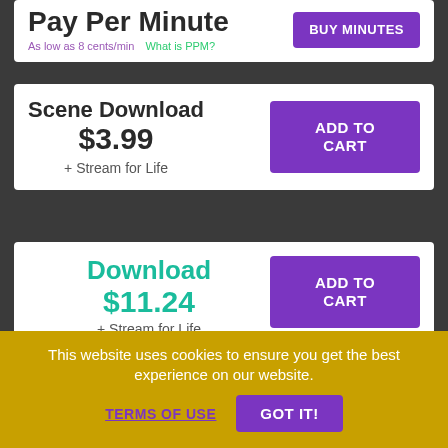Pay Per Minute
As low as 8 cents/min   What is PPM?
BUY MINUTES
Scene Download $3.99
+ Stream for Life
ADD TO CART
Download $11.24
+ Stream for Life
Full Movie: Brazilian T-Girl Showcase 8
On Sale! - You Save 25%
ADD TO CART
This website uses cookies to ensure you get the best experience on our website.
TERMS OF USE
GOT IT!